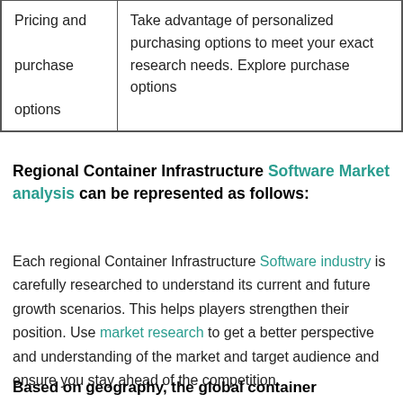| Pricing and purchase options | Take advantage of personalized purchasing options to meet your exact research needs. Explore purchase options |
Regional Container Infrastructure Software Market analysis can be represented as follows:
Each regional Container Infrastructure Software industry is carefully researched to understand its current and future growth scenarios. This helps players strengthen their position. Use market research to get a better perspective and understanding of the market and target audience and ensure you stay ahead of the competition.
Based on geography, the global container